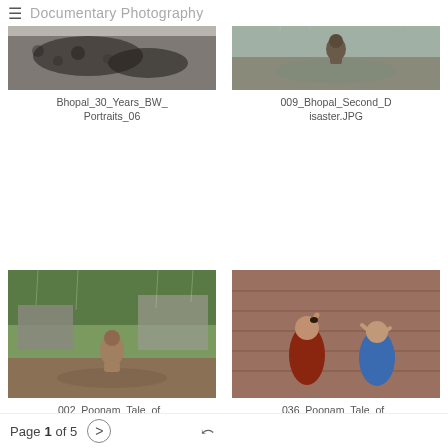≡ Documentary Photography
[Figure (photo): Black and white portrait photo - Bhopal 30 Years portraits]
Bhopal_30_Years_BW_Portraits_06
[Figure (photo): Color photo of person kneeling in rain - Bhopal Second Disaster]
009_Bhopal_Second_Disaster.JPG
[Figure (photo): Color photo of person kneeling in flooded muddy area - Poonam Tale of Hope]
002_Poonam_Tale_of_Hope.JPG
[Figure (photo): Color photo of two children - girl with hand on head, boy with hands raised - Poonam Tale of Hope]
036_Poonam_Tale_of_Hope.JPG
Page 1 of 5 > ☰